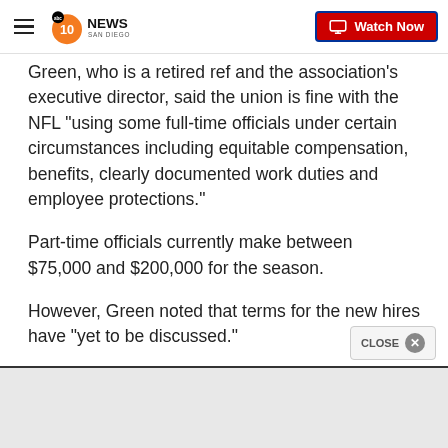10 News San Diego | Watch Now
Green, who is a retired ref and the association's executive director, said the union is fine with the NFL "using some full-time officials under certain circumstances including equitable compensation, benefits, clearly documented work duties and employee protections."
Part-time officials currently make between $75,000 and $200,000 for the season.
However, Green noted that terms for the new hires have "yet to be discussed."